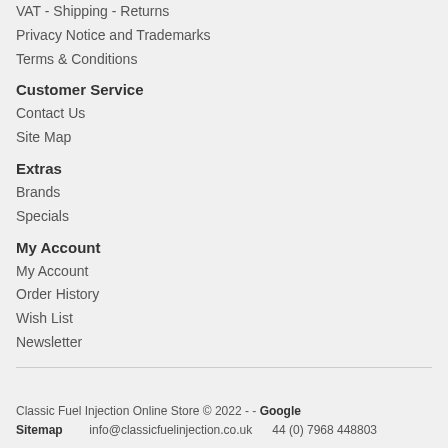VAT - Shipping - Returns
Privacy Notice and Trademarks
Terms & Conditions
Customer Service
Contact Us
Site Map
Extras
Brands
Specials
My Account
My Account
Order History
Wish List
Newsletter
Classic Fuel Injection Online Store © 2022 - - Google Sitemap    info@classicfuelinjection.co.uk    44 (0) 7968 448803